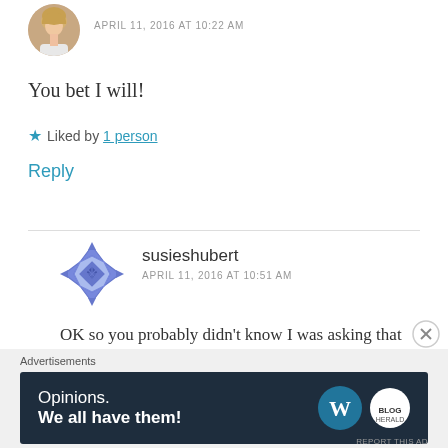[Figure (photo): Circular avatar photo of a blonde woman in white top]
APRIL 11, 2016 AT 10:22 AM
You bet I will!
★ Liked by 1 person
Reply
[Figure (logo): Blue quilt/geometric pattern avatar for susieshubert]
susieshubert
APRIL 11, 2016 AT 10:51 AM
OK so you probably didn't know I was asking that literally. Sent you a message on FB thinking you
Advertisements
[Figure (screenshot): WordPress advertisement banner: 'Opinions. We all have them!' with WordPress and another logo]